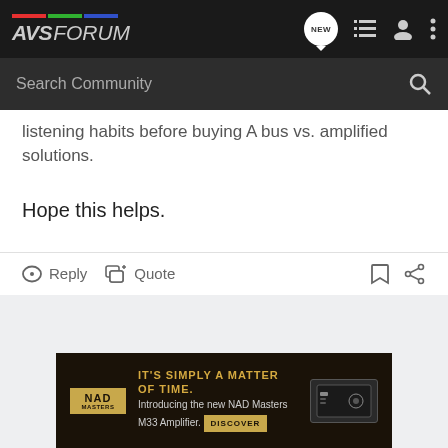AVS FORUM
listening habits before buying A bus vs. amplified solutions.
Hope this helps.
Reply  Quote
[Figure (screenshot): NAD M33 Amplifier advertisement banner with text: IT'S SIMPLY A MATTER OF TIME. Introducing the new NAD Masters M33 Amplifier. DISCOVER]